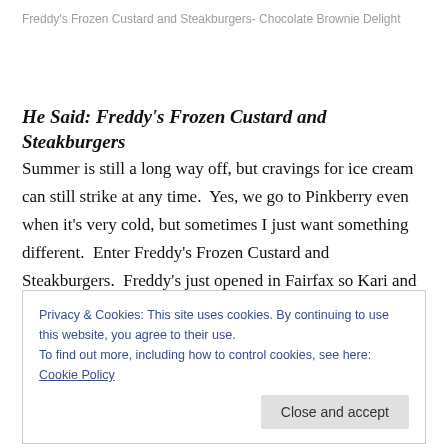Freddy's Frozen Custard and Steakburgers- Chocolate Brownie Delight
He Said: Freddy's Frozen Custard and Steakburgers
Summer is still a long way off, but cravings for ice cream can still strike at any time.  Yes, we go to Pinkberry even when it's very cold, but sometimes I just want something different.  Enter Freddy's Frozen Custard and Steakburgers.  Freddy's just opened in Fairfax so Kari and
Privacy & Cookies: This site uses cookies. By continuing to use this website, you agree to their use.
To find out more, including how to control cookies, see here: Cookie Policy
need to go to an actual hot dog cart in Chicago to get.